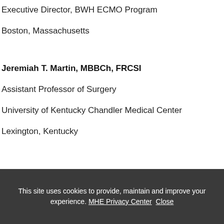Executive Director, BWH ECMO Program
Boston, Massachusetts
Jeremiah T. Martin, MBBCh, FRCSI
Assistant Professor of Surgery
University of Kentucky Chandler Medical Center
Lexington, Kentucky
This site uses cookies to provide, maintain and improve your experience. MHE Privacy Center Close